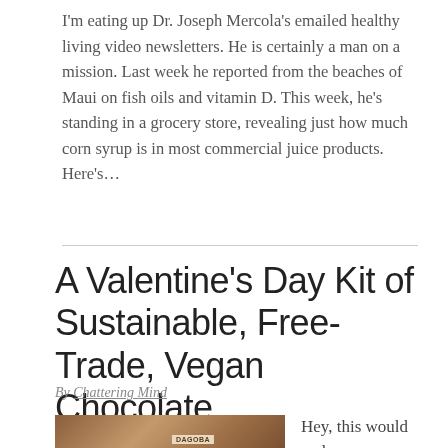I'm eating up Dr. Joseph Mercola's emailed healthy living video newsletters. He is certainly a man on a mission. Last week he reported from the beaches of Maui on fish oils and vitamin D. This week, he's standing in a grocery store, revealing just how much corn syrup is in most commercial juice products. Here's…
A Valentine's Day Kit of Sustainable, Free-Trade, Vegan Chocolate
By Chattering Mind
[Figure (photo): Photo of Dagoba chocolate products with coffee beans in background]
Hey, this would make a sexy